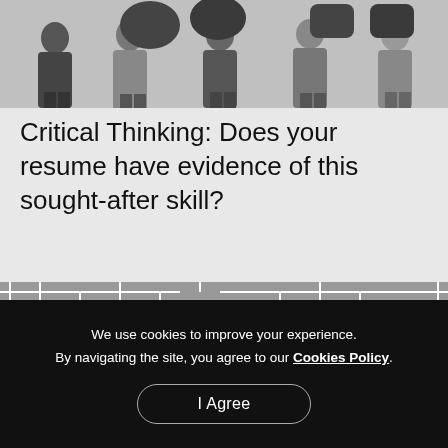[Figure (photo): Black and white photo of a group of people holding speech bubble signs]
Critical Thinking: Does your resume have evidence of this sought-after skill?
[Figure (photo): Black and white photo of a person looking down at a maze from above, with hands on head]
We use cookies to improve your experience.
By navigating the site, you agree to our Cookies Policy.
I Agree